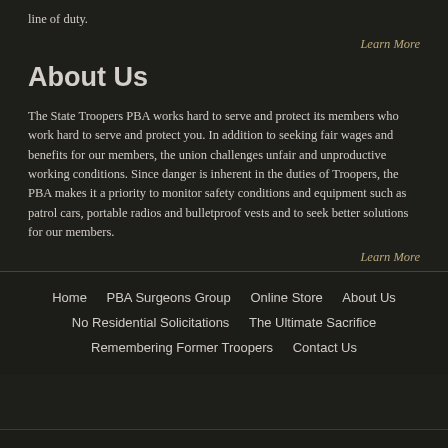line of duty.
Learn More
About Us
The State Troopers PBA works hard to serve and protect its members who work hard to serve and protect you. In addition to seeking fair wages and benefits for our members, the union challenges unfair and unproductive working conditions. Since danger is inherent in the duties of Troopers, the PBA makes it a priority to monitor safety conditions and equipment such as patrol cars, portable radios and bulletproof vests and to seek better solutions for our members.
Learn More
Home  PBA Surgeons Group  Online Store  About Us  No Residential Solicitations  The Ultimate Sacrifice  Remembering Former Troopers  Contact Us